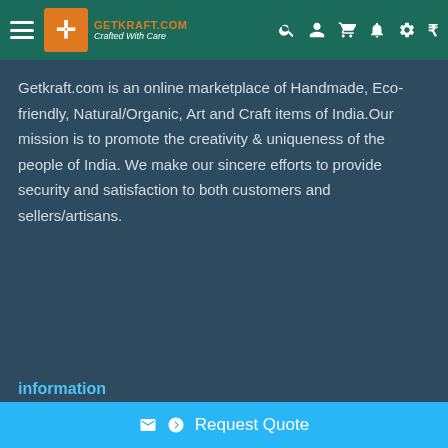Getkraft.com — Crafted With Care
Getkraft.com is an online marketplace of Handmade, Eco-friendly, Natural/Organic, Art and Craft items of India.Our mission is to promote the creativity & uniqueness of the people of India. We make our sincere efforts to provide security and satisfaction to both customers and sellers/artisans.
information
✉ © Request Quote